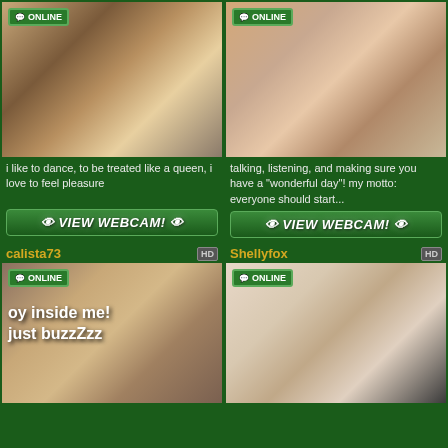[Figure (photo): Emma profile - woman on bed with ONLINE badge]
i like to dance, to be treated like a queen, i love to feel pleasure
VIEW WEBCAM!
[Figure (photo): Nisonsky profile - woman selfie with ONLINE badge]
talking, listening, and making sure you have a "wonderful day"! my motto: everyone should start...
VIEW WEBCAM!
calista73
[Figure (photo): calista73 profile - ONLINE badge, overlay text: oy inside me! just buzzZzz]
Shellyfox
[Figure (photo): Shellyfox profile - ONLINE badge]